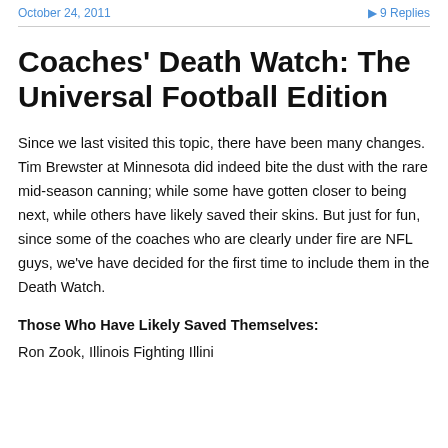October 24, 2011   ▶ 9 Replies
Coaches' Death Watch: The Universal Football Edition
Since we last visited this topic, there have been many changes. Tim Brewster at Minnesota did indeed bite the dust with the rare mid-season canning; while some have gotten closer to being next, while others have likely saved their skins. But just for fun, since some of the coaches who are clearly under fire are NFL guys, we've have decided for the first time to include them in the Death Watch.
Those Who Have Likely Saved Themselves:
Ron Zook, Illinois Fighting Illini